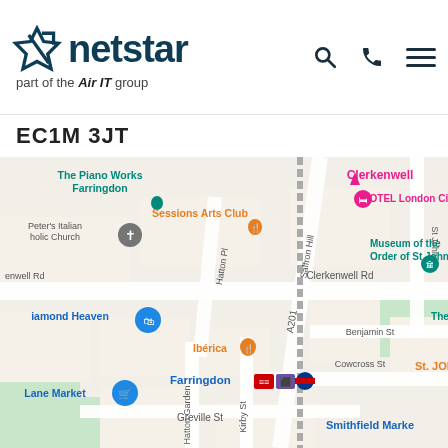[Figure (logo): Netstar logo — star icon plus 'netstar' wordmark in dark teal, subtitle 'part of the Air IT group' in grey]
EC1M 3JT
[Figure (map): Google Maps screenshot showing Farringdon area of London, including landmarks: The Piano Works Farringdon, Sessions Arts Club, Peter's Italian Catholic Church, Diamond Heaven, Lane Market, Ibérica, YOTEL London City, Clerkenwell, Museum of the Order of St John, Smithfield Market. Streets visible: Clerkenwell Rd, Saffron Hill, Hatton Pl, Turnmill St, A201, Benjamin St, Hatton Garden, Kirby St, Greville St, Cowcross St. Farringdon station shown with rail, Elizabeth line, and Underground icons.]